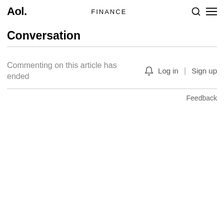Aol. | FINANCE
Conversation
Commenting on this article has ended
Log in | Sign up
Feedback